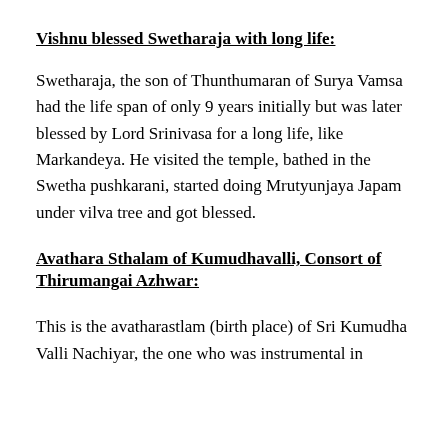Vishnu blessed Swetharaja with long life:
Swetharaja, the son of Thunthumaran of Surya Vamsa had the life span of only 9 years initially but was later blessed by Lord Srinivasa for a long life, like Markandeya. He visited the temple, bathed in the Swetha pushkarani, started doing Mrutyunjaya Japam under vilva tree and got blessed.
Avathara Sthalam of Kumudhavalli, Consort of Thirumangai Azhwar:
This is the avatharastlam (birth place) of Sri Kumudha Valli Nachiyar, the one who was instrumental in